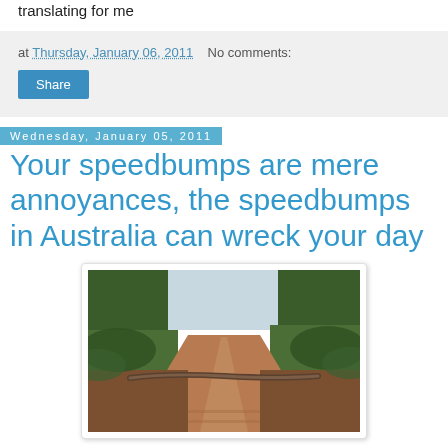translating for me
at Thursday, January 06, 2011   No comments:
Share
Wednesday, January 05, 2011
Your speedbumps are mere annoyances, the speedbumps in Australia can wreck your day
[Figure (photo): A large snake lying across a red dirt road lined with tropical trees and vegetation.]
found on Big Lorry Blog